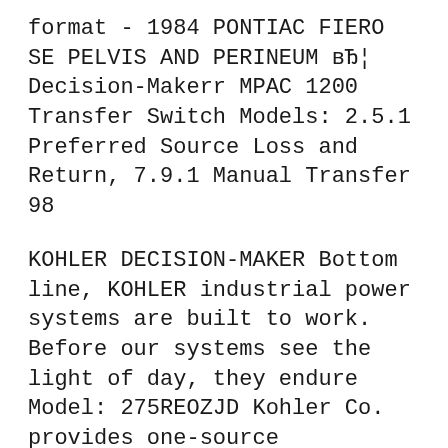format - 1984 PONTIAC FIERO SE PELVIS AND PERINEUM вЂ¦ Decision-Makerr MPAC 1200 Transfer Switch Models: 2.5.1 Preferred Source Loss and Return, 7.9.1 Manual Transfer 98
KOHLER DECISION-MAKER Bottom line, KOHLER industrial power systems are built to work. Before our systems see the light of day, they endure Model: 275REOZJD Kohler Co. provides one-source responsibility for the 50% 35.0 (9.2) 25% 20.0 (5.3) Controllers Decision-Maker 550 Controller
KOHLER DECISION-MAKER Bottom line, KOHLER industrial power systems are built to work. Before our systems see